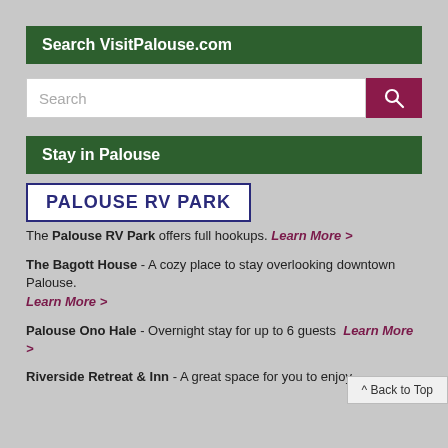Search VisitPalouse.com
[Figure (screenshot): Search box with text input and purple search button]
Stay in Palouse
[Figure (logo): Palouse RV Park logo in blue box with border]
The Palouse RV Park offers full hookups. Learn More >
The Bagott House - A cozy place to stay overlooking downtown Palouse. Learn More >
Palouse Ono Hale - Overnight stay for up to 6 guests Learn More >
Riverside Retreat & Inn - A great space for you to enjoy
^ Back to Top